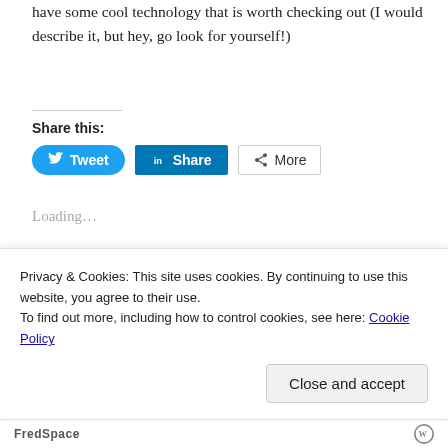have some cool technology that is worth checking out (I would describe it, but hey, go look for yourself!)
Share this:
[Figure (infographic): Social share buttons: Tweet (Twitter), Share (LinkedIn), More]
Loading...
AUGUST 12, 2007
Usability – interesting analysis of
Privacy & Cookies: This site uses cookies. By continuing to use this website, you agree to their use.
To find out more, including how to control cookies, see here: Cookie Policy
Close and accept
FredSpace